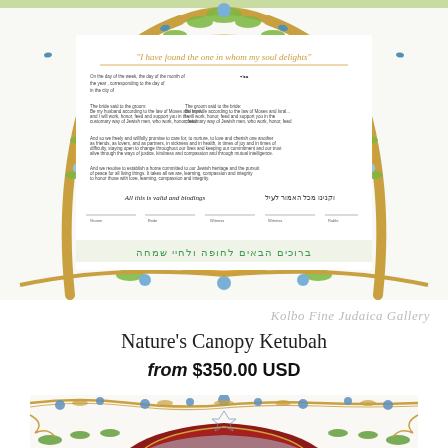[Figure (illustration): Nature's Canopy Ketubah — decorative Jewish marriage certificate with an ornate border of intertwining golden tree branches, blue flowers, and green leaves surrounding a central text document. Hebrew and English text visible within the document. Bottom border features Hebrew text in blue/green script.]
Kolbo Fine Judaica Gallery
Nature's Canopy Ketubah
from $350.00 USD
[Figure (illustration): Partial view of a second ornate Ketubah design with decorative scrollwork borders in blue, gold, and red with floral and arabesque motifs.]